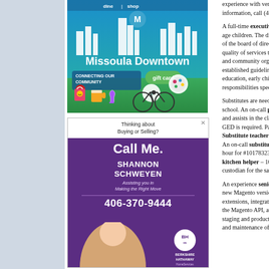[Figure (illustration): Missoula Downtown gift card advertisement with blue/green background featuring city skyline silhouette, bicycle, beer mug, wine glass, and gift bag icons]
[Figure (illustration): Real estate advertisement for Shannon Schweyen, Berkshire Hathaway HomeServices. Purple background with text: Thinking about Buying or Selling? Call Me. Shannon Schweyen, Assisting you in Making the Right Move, 406-370-9444, Berkshire Hathaway HomeServices]
experience with version o... information, call (406) 72...
A full-time executive dire... age children. The director... of the board of directors a... quality of services to chil... and community organizat... established guidelines. Q... education, early childhoo... responsibilities specified...
Substitutes are needed fo... school. An on-call para e... and assists in the classro... GED is required. Pay is $... Substitute teachers' pa... An on-call substitute nu... hour for #10178323. The... kitchen helper – 10178... custodian for the same a...
An experience senior Ma... new Magento version de... extensions, integration, i... the Magento API, and de... staging and production M... and maintenance of data...